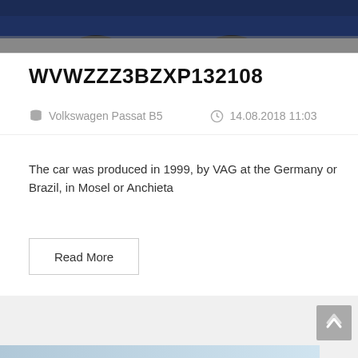[Figure (photo): Partial view of a car (bottom portion showing wheels and lower body), appears to be a Volkswagen Passat B5 in dark blue color, photographed on a dark surface.]
WVWZZZ3BZXP132108
Volkswagen Passat B5   14.08.2018 11:03
The car was produced in 1999, by VAG at the Germany or Brazil, in Mosel or Anchieta
Read More
[Figure (photo): Bottom portion of the page showing the top of another car listing entry, partially visible.]